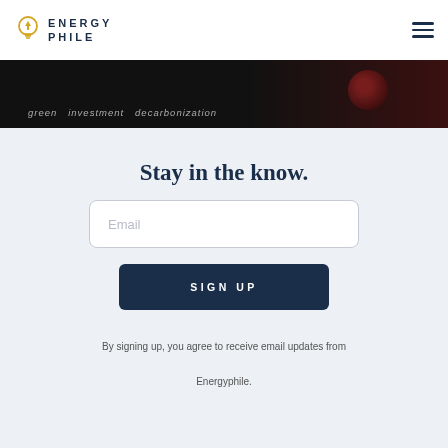ENERGY PHILE
[Figure (screenshot): Dark hero banner strip with text: green investment decarbonization]
Stay in the know.
Email
SIGN UP
By signing up, you agree to receive email updates from Energyphile.